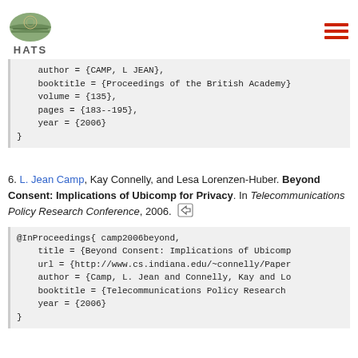HATS
author = {CAMP, L JEAN},
    booktitle = {Proceedings of the British Academy},
    volume = {135},
    pages = {183--195},
    year = {2006}
}
6. L. Jean Camp, Kay Connelly, and Lesa Lorenzen-Huber. Beyond Consent: Implications of Ubicomp for Privacy. In Telecommunications Policy Research Conference, 2006.
@InProceedings{ camp2006beyond,
    title = {Beyond Consent: Implications of Ubicomp
    url = {http://www.cs.indiana.edu/~connelly/Paper
    author = {Camp, L. Jean and Connelly, Kay and Lo
    booktitle = {Telecommunications Policy Research
    year = {2006}
}